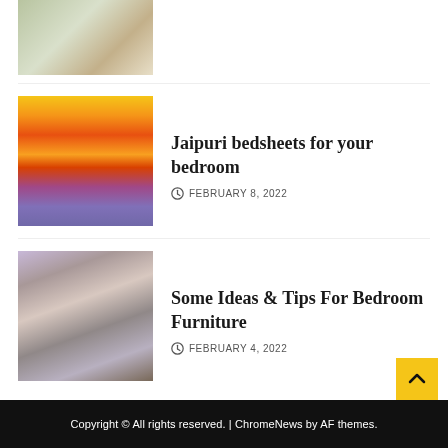[Figure (photo): Partial view of a room interior with plants, cut off at top]
[Figure (photo): Colorful rolled fabrics in yellow, orange, red, and purple patterns - Jaipuri bedsheets]
Jaipuri bedsheets for your bedroom
FEBRUARY 8, 2022
[Figure (photo): Two people lying on a couch, one with a laptop, viewed from above]
Some Ideas & Tips For Bedroom Furniture
FEBRUARY 4, 2022
Copyright © All rights reserved. | ChromeNews by AF themes.